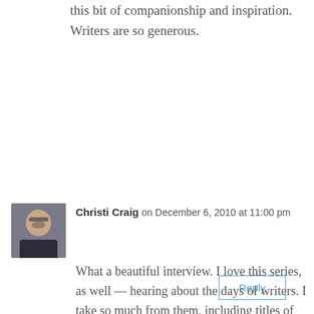this bit of companionship and inspiration. Writers are so generous.
Reply
[Figure (photo): Avatar photo of Christi Craig, a woman with glasses and dark hair]
Christi Craig on December 6, 2010 at 11:00 pm
What a beautiful interview. I love this series, as well — hearing about the days of writers. I take so much from them, including titles of books I look forward to reading.

Congratulations on your book,